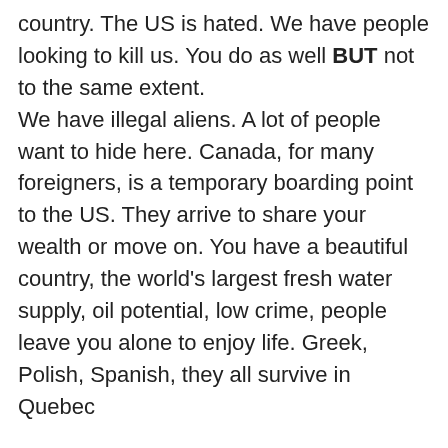country. The US is hated. We have people looking to kill us. You do as well BUT not to the same extent.
We have illegal aliens. A lot of people want to hide here. Canada, for many foreigners, is a temporary boarding point to the US. They arrive to share your wealth or move on. You have a beautiful country, the world's largest fresh water supply, oil potential, low crime, people leave you alone to enjoy life. Greek, Polish, Spanish, they all survive in Quebec
Then why the fuck do you want to screw that up????
Get real people, it's only a fucking language battle. You are not fighting over the two